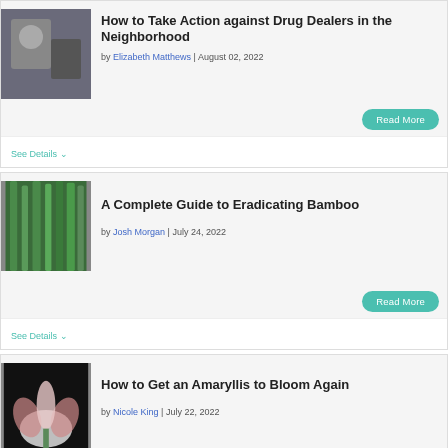How to Take Action against Drug Dealers in the Neighborhood
by Elizabeth Matthews | August 02, 2022
Read More
See Details
A Complete Guide to Eradicating Bamboo
by Josh Morgan | July 24, 2022
Read More
See Details
How to Get an Amaryllis to Bloom Again
by Nicole King | July 22, 2022
Read More